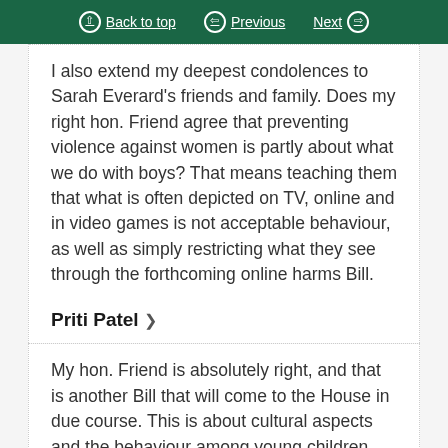Back to top | Previous | Next
I also extend my deepest condolences to Sarah Everard's friends and family. Does my right hon. Friend agree that preventing violence against women is partly about what we do with boys? That means teaching them that what is often depicted on TV, online and in video games is not acceptable behaviour, as well as simply restricting what they see through the forthcoming online harms Bill.
Priti Patel
My hon. Friend is absolutely right, and that is another Bill that will come to the House in due course. This is about cultural aspects and the behaviour...